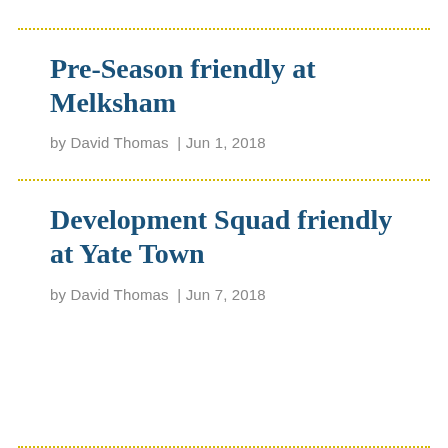Pre-Season friendly at Melksham
by David Thomas  |  Jun 1, 2018
Development Squad friendly at Yate Town
by David Thomas  |  Jun 7, 2018